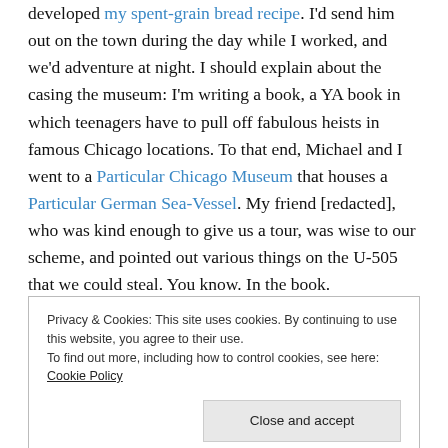developed my spent-grain bread recipe. I'd send him out on the town during the day while I worked, and we'd adventure at night. I should explain about the casing the museum: I'm writing a book, a YA book in which teenagers have to pull off fabulous heists in famous Chicago locations. To that end, Michael and I went to a Particular Chicago Museum that houses a Particular German Sea-Vessel. My friend [redacted], who was kind enough to give us a tour, was wise to our scheme, and pointed out various things on the U-505 that we could steal. You know. In the book.
Privacy & Cookies: This site uses cookies. By continuing to use this website, you agree to their use.
To find out more, including how to control cookies, see here: Cookie Policy